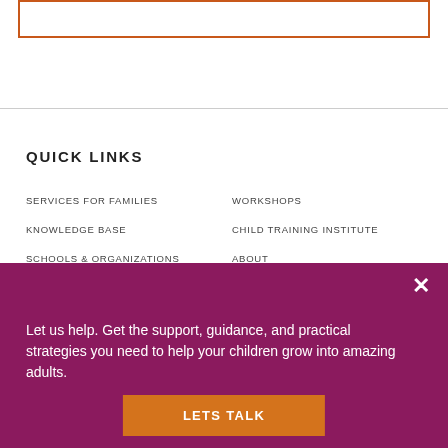[Figure (other): Orange outlined rectangle/search box at top of page]
QUICK LINKS
SERVICES FOR FAMILIES
WORKSHOPS
KNOWLEDGE BASE
CHILD TRAINING INSTITUTE
SCHOOLS & ORGANIZATIONS
ABOUT
ADVOCACY
CAREERS
CONTACT
DONATE
Let us help. Get the support, guidance, and practical strategies you need to help your children grow into amazing adults.
LETS TALK